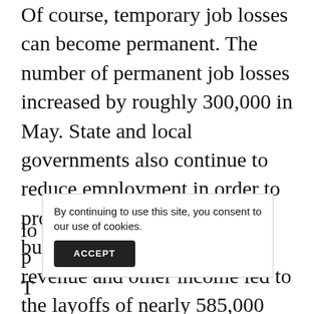Of course, temporary job losses can become permanent. The number of permanent job losses increased by roughly 300,000 in May. State and local governments also continue to reduce employment in order to protect their badly damaged budgets. The loss of sales tax revenue and other income led to the layoffs of nearly 585,000 state and local government jobs. We expect the federal government to pass some additional support for state and local governments in coming months, although the lo[ng-lasting legislation will need to...]p[rovide...]
By continuing to use this site, you consent to our use of cookies.
ACCEPT